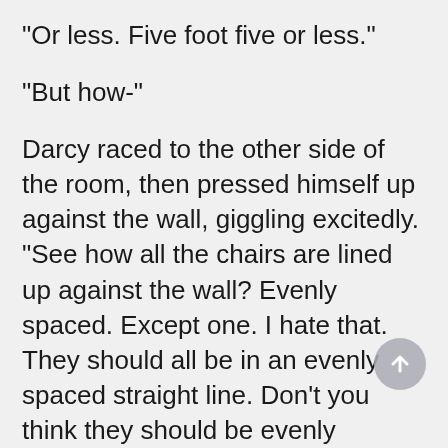"Or less. Five foot five or less."
"But how-"
Darcy raced to the other side of the room, then pressed himself up against the wall, giggling excitedly. "See how all the chairs are lined up against the wall? Evenly spaced. Except one. I hate that. They should all be in an evenly spaced straight line. Don't you think they should be evenly spaced? And then I thought-maybe they're not evenly spaced-"
"Because he needed to move one to get up on the window riser."
"If he'd have been five foot six or more, he could've stepped up there himself. But five foot five-"